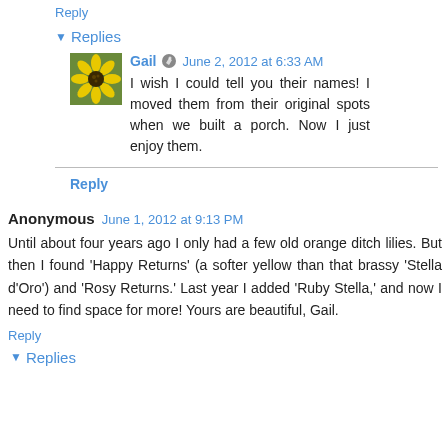Reply
Replies
Gail  June 2, 2012 at 6:33 AM
I wish I could tell you their names! I moved them from their original spots when we built a porch. Now I just enjoy them.
Reply
Anonymous  June 1, 2012 at 9:13 PM
Until about four years ago I only had a few old orange ditch lilies. But then I found 'Happy Returns' (a softer yellow than that brassy 'Stella d'Oro') and 'Rosy Returns.' Last year I added 'Ruby Stella,' and now I need to find space for more! Yours are beautiful, Gail.
Reply
Replies